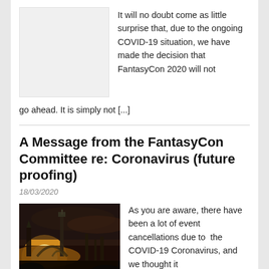[Figure (photo): Light grey placeholder image box]
It will no doubt come as little surprise that, due to the ongoing COVID-19 situation, we have made the decision that FantasyCon 2020 will not go ahead. It is simply not [...]
A Message from the FantasyCon Committee re: Coronavirus (future proofing)
18/03/2020
[Figure (illustration): Fantasy science fiction landscape with futuristic structures, dramatic sky with sunlight at horizon]
As you are aware, there have been a lot of event cancellations due to the COVID-19 Coronavirus, and we thought it